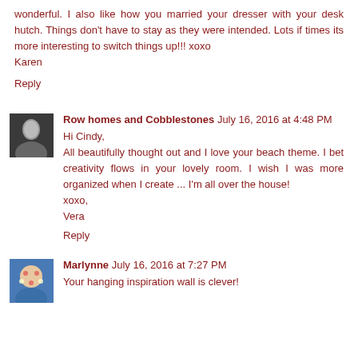wonderful. I also like how you married your dresser with your desk hutch. Things don't have to stay as they were intended. Lots if times its more interesting to switch things up!!! xoxo
Karen
Reply
Row homes and Cobblestones  July 16, 2016 at 4:48 PM
Hi Cindy,
All beautifully thought out and I love your beach theme. I bet creativity flows in your lovely room. I wish I was more organized when I create ... I'm all over the house!
xoxo,
Vera
Reply
Marlynne  July 16, 2016 at 7:27 PM
Your hanging inspiration wall is clever!